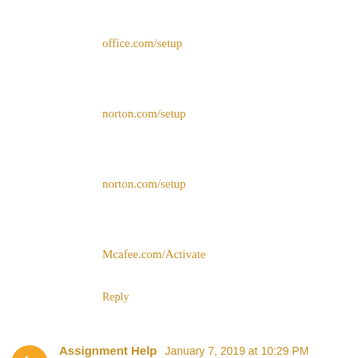office.com/setup
norton.com/setup
norton.com/setup
Mcafee.com/Activate
Reply
Assignment Help  January 7, 2019 at 10:29 PM
Thanks for sharing this! very helpful info. Having issues in your assignment work? Well, give all your issues to Online Assignment Help and get them resolved. Register now!
Reply
Assignment Help  January 8, 2019 at 9:15 PM
I loved the article, keep updating interesting articles. I will be a regular reader... I am offering assignment help to